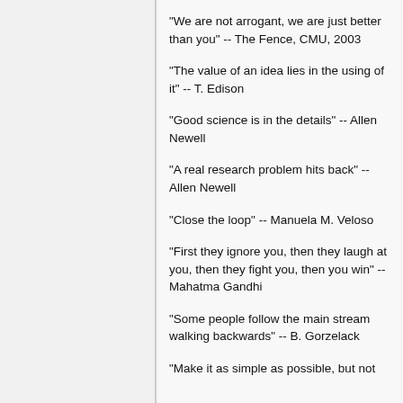"We are not arrogant, we are just better than you" -- The Fence, CMU, 2003
"The value of an idea lies in the using of it" -- T. Edison
"Good science is in the details" -- Allen Newell
"A real research problem hits back" -- Allen Newell
"Close the loop" -- Manuela M. Veloso
"First they ignore you, then they laugh at you, then they fight you, then you win" -- Mahatma Gandhi
"Some people follow the main stream walking backwards" -- B. Gorzelack
"Make it as simple as possible, but not